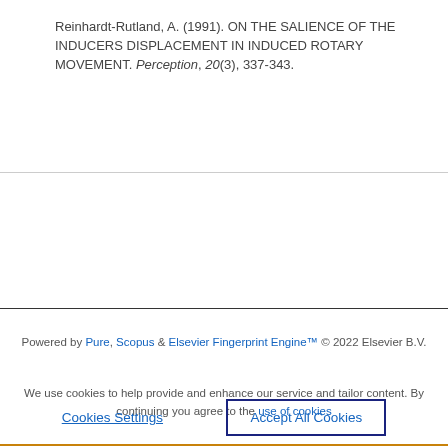Reinhardt-Rutland, A. (1991). ON THE SALIENCE OF THE INDUCERS DISPLACEMENT IN INDUCED ROTARY MOVEMENT. Perception, 20(3), 337-343.
Powered by Pure, Scopus & Elsevier Fingerprint Engine™ © 2022 Elsevier B.V.
We use cookies to help provide and enhance our service and tailor content. By continuing you agree to the use of cookies
We use cookies to analyse and improve our service. Cookie Policy
Cookies Settings
Accept All Cookies